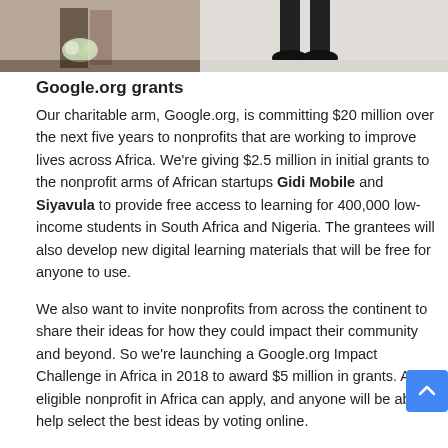[Figure (photo): Two photo strips at the top: left shows people with flowers (wedding/event scene), right shows a person's feet/shoes on a light background.]
Google.org grants
Our charitable arm, Google.org, is committing $20 million over the next five years to nonprofits that are working to improve lives across Africa. We're giving $2.5 million in initial grants to the nonprofit arms of African startups Gidi Mobile and Siyavula to provide free access to learning for 400,000 low-income students in South Africa and Nigeria. The grantees will also develop new digital learning materials that will be free for anyone to use.
We also want to invite nonprofits from across the continent to share their ideas for how they could impact their community and beyond. So we're launching a Google.org Impact Challenge in Africa in 2018 to award $5 million in grants. Any eligible nonprofit in Africa can apply, and anyone will be able to help select the best ideas by voting online.